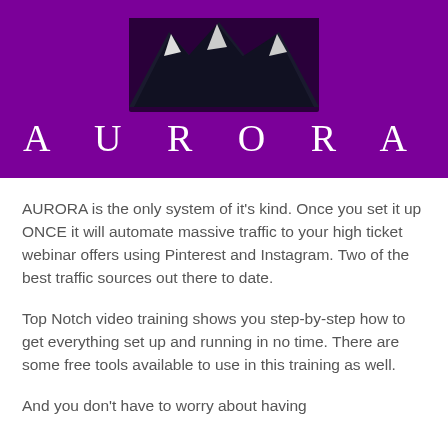[Figure (logo): Aurora logo with mountain silhouette graphic in black and white on a purple background, with the word AURORA in large spaced white serif letters below]
AURORA is the only system of it's kind. Once you set it up ONCE it will automate massive traffic to your high ticket webinar offers using Pinterest and Instagram. Two of the best traffic sources out there to date.
Top Notch video training shows you step-by-step how to get everything set up and running in no time. There are some free tools available to use in this training as well.
And you don't have to worry about having